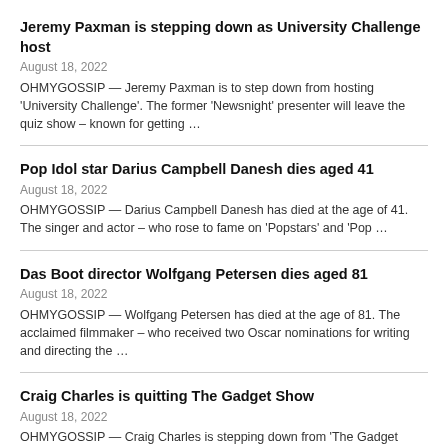Jeremy Paxman is stepping down as University Challenge host
August 18, 2022
OHMYGOSSIP — Jeremy Paxman is to step down from hosting 'University Challenge'. The former 'Newsnight' presenter will leave the quiz show – known for getting …
Pop Idol star Darius Campbell Danesh dies aged 41
August 18, 2022
OHMYGOSSIP — Darius Campbell Danesh has died at the age of 41. The singer and actor – who rose to fame on 'Popstars' and 'Pop …
Das Boot director Wolfgang Petersen dies aged 81
August 18, 2022
OHMYGOSSIP — Wolfgang Petersen has died at the age of 81. The acclaimed filmmaker – who received two Oscar nominations for writing and directing the …
Craig Charles is quitting The Gadget Show
August 18, 2022
OHMYGOSSIP — Craig Charles is stepping down from 'The Gadget Show'. The 'Red Dwarf' actor has confirmed he won't be returning for more episodes of …
Made in Chelsea's Olivia Bentley and Tristan Phipps 'in it …